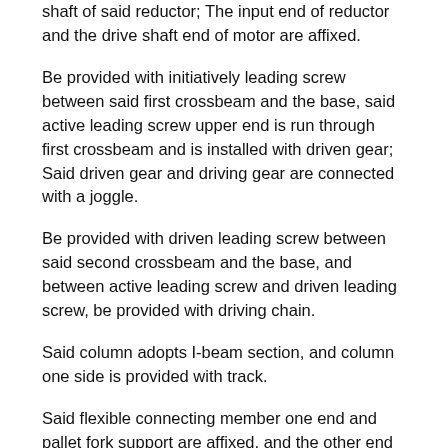shaft of said reductor; The input end of reductor and the drive shaft end of motor are affixed.
Be provided with initiatively leading screw between said first crossbeam and the base, said active leading screw upper end is run through first crossbeam and is installed with driven gear; Said driven gear and driving gear are connected with a joggle.
Be provided with driven leading screw between said second crossbeam and the base, and between active leading screw and driven leading screw, be provided with driving chain.
Said column adopts I-beam section, and column one side is provided with track.
Said flexible connecting member one end and pallet fork support are affixed, and the other end and one-level lifting framework are affixed, and secondary lifting framework is walked around at the middle part.
The beneficial effect of the utility model is:
1, the utility model has adopted the two-stage lifting